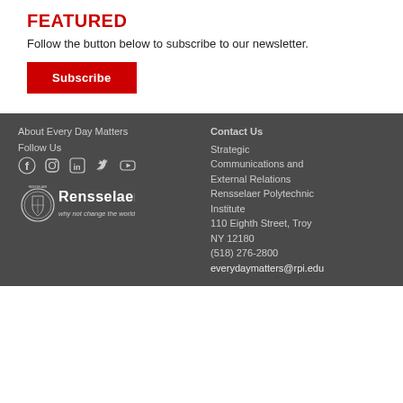FEATURED
Follow the button below to subscribe to our newsletter.
Subscribe
About Every Day Matters
Follow Us
[Figure (illustration): Social media icons: Facebook, Instagram, LinkedIn, Twitter, YouTube]
[Figure (logo): Rensselaer Polytechnic Institute logo with seal and tagline 'why not change the world?']
Contact Us
Strategic Communications and External Relations
Rensselaer Polytechnic Institute
110 Eighth Street, Troy
NY 12180
(518) 276-2800
everydaymatters@rpi.edu